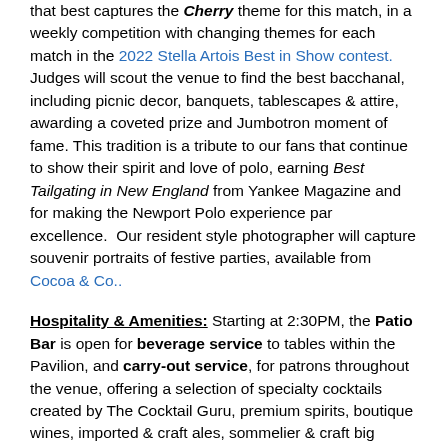that best captures the Cherry theme for this match, in a weekly competition with changing themes for each match in the 2022 Stella Artois Best in Show contest. Judges will scout the venue to find the best bacchanal, including picnic decor, banquets, tablescapes & attire, awarding a coveted prize and Jumbotron moment of fame. This tradition is a tribute to our fans that continue to show their spirit and love of polo, earning Best Tailgating in New England from Yankee Magazine and for making the Newport Polo experience par excellence.  Our resident style photographer will capture souvenir portraits of festive parties, available from Cocoa & Co..
Hospitality & Amenities: Starting at 2:30PM, the Patio Bar is open for beverage service to tables within the Pavilion, and carry-out service, for patrons throughout the venue, offering a selection of specialty cocktails created by The Cocktail Guru, premium spirits, boutique wines, imported & craft ales, sommelier & craft big...